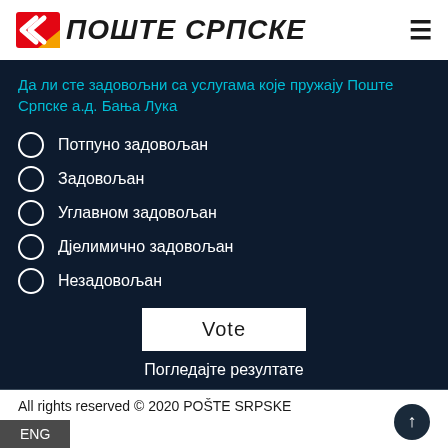ПОШТЕ СРПСКЕ
Да ли сте задовољни са услугама које пружају Поште Српске а.д. Бања Лука
Потпуно задовољан
Задовољан
Углавном задовољан
Дјелимично задовољан
Незадовољан
Vote
Погледајте резултате
All rights reserved © 2020 POŠTE SRPSKE
ENG